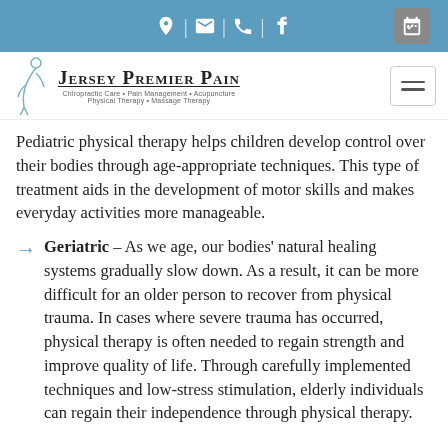[Figure (other): Blue navigation bar with icons: location pin, envelope, phone, Facebook, and calendar/schedule button on a steel-blue background]
[Figure (logo): Jersey Premier Pain logo with stylized figure outline and text: 'Jersey Premier Pain' with tagline 'Chiropractic Care · Pain Management · Acupuncture / Physical Therapy · Massage Therapy'. Hamburger menu icon on right.]
Pediatric physical therapy helps children develop control over their bodies through age-appropriate techniques. This type of treatment aids in the development of motor skills and makes everyday activities more manageable.
Geriatric – As we age, our bodies' natural healing systems gradually slow down. As a result, it can be more difficult for an older person to recover from physical trauma. In cases where severe trauma has occurred, physical therapy is often needed to regain strength and improve quality of life. Through carefully implemented techniques and low-stress stimulation, elderly individuals can regain their independence through physical therapy.